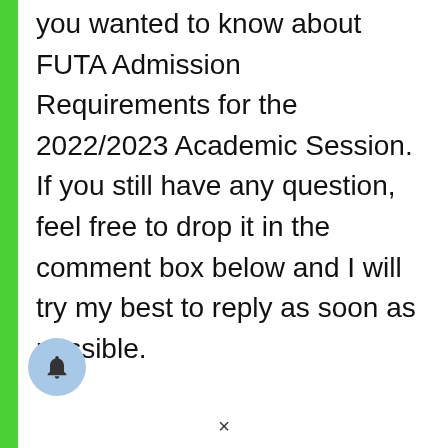you wanted to know about FUTA Admission Requirements for the 2022/2023 Academic Session. If you still have any question, feel free to drop it in the comment box below and I will try my best to reply as soon as possible.